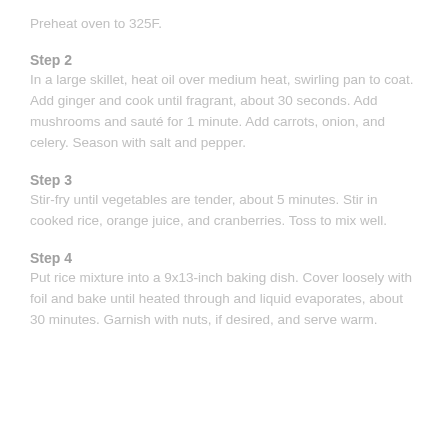Preheat oven to 325F.
Step 2
In a large skillet, heat oil over medium heat, swirling pan to coat. Add ginger and cook until fragrant, about 30 seconds. Add mushrooms and sauté for 1 minute. Add carrots, onion, and celery. Season with salt and pepper.
Step 3
Stir-fry until vegetables are tender, about 5 minutes. Stir in cooked rice, orange juice, and cranberries. Toss to mix well.
Step 4
Put rice mixture into a 9x13-inch baking dish. Cover loosely with foil and bake until heated through and liquid evaporates, about 30 minutes. Garnish with nuts, if desired, and serve warm.